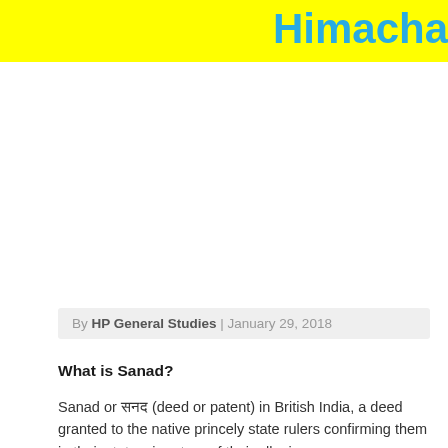Himacha
By HP General Studies | January 29, 2018
What is Sanad?
Sanad or सनद (deed or patent) in British India, a deed granted to the native princely state rulers confirming them in their states, in return of their allegiance.
Under the Sanad, the hill chiefs were put under certain obligations in return of their protection.
Those obligations were:
With the form to offer from manage to British...